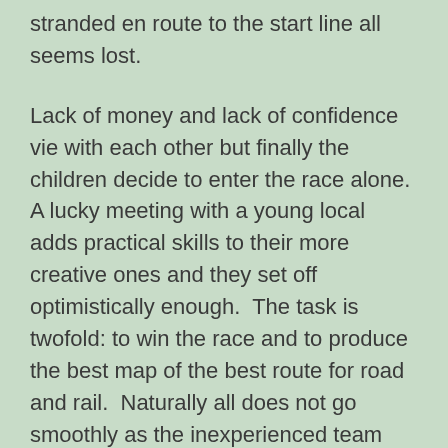stranded en route to the start line all seems lost.
Lack of money and lack of confidence vie with each other but finally the children decide to enter the race alone. A lucky meeting with a young local adds practical skills to their more creative ones and they set off optimistically enough.  The task is twofold: to win the race and to produce the best map of the best route for road and rail.  Naturally all does not go smoothly as the inexperienced team attempts to cope with the terrain, the bad behaviour of some of the other teams and the responsibility that has been thrust onto their untried shoulders.
Either Not to be completed all concluded be to and